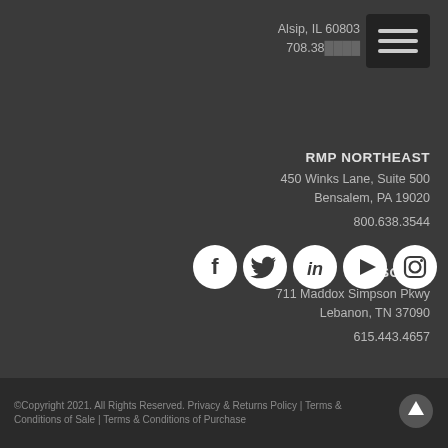Alsip, IL 60803
708.38...
RMP NORTHEAST
450 Winks Lane, Suite 500
Bensalem, PA 19020
800.638.3544
RMP SOUTH
711 Maddox Simpson Pkwy
Lebanon, TN 37090
615.443.4657
[Figure (logo): Row of five social media icons: Facebook, Twitter, LinkedIn, YouTube, Instagram — white icons on white circles]
©Copyright 2021. All Rights Reserved. Privacy & Returns Policy | Terms & Conditions of Sale | Terms & Conditions of Purchase